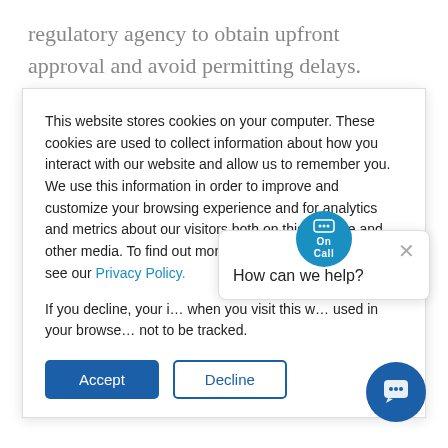regulatory agency to obtain upfront approval and avoid permitting delays.

Mitigation planning is an integral part of a streamlined permitting process. When
This website stores cookies on your computer. These cookies are used to collect information about how you interact with our website and allow us to remember you. We use this information in order to improve and customize your browsing experience and for analytics and metrics about our visitors both on this website and other media. To find out more about the cookies we use, see our Privacy Policy.
If you decline, your i... when you visit this w... used in your browse... not to be tracked.
[Figure (other): OnCall chat widget with 'How can we help?' header and close button]
[Figure (other): OnCall circular badge icon in teal/blue with chat bubble icon]
[Figure (other): Blue circular chat button in bottom right corner]